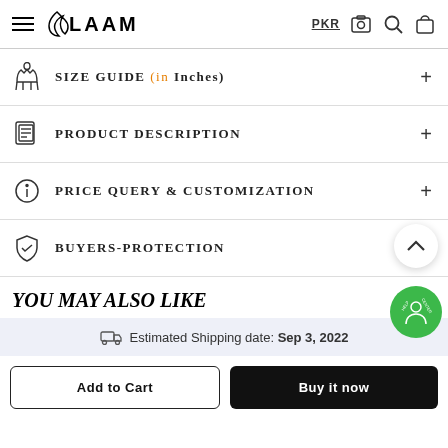LAAM — PKR, search, camera, bag icons
SIZE GUIDE (in Inches)
PRODUCT DESCRIPTION
PRICE QUERY & CUSTOMIZATION
BUYERS-PROTECTION
YOU MAY ALSO LIKE
Estimated Shipping date: Sep 3, 2022
Add to Cart
Buy it now